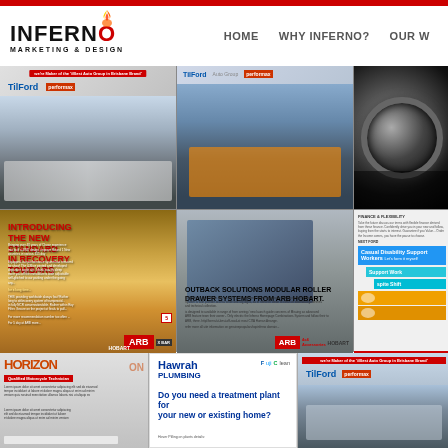INFERNO MARKETING & DESIGN — HOME | WHY INFERNO? | OUR W...
[Figure (screenshot): Website screenshot of Inferno Marketing & Design portfolio page showing a red top bar, logo with flame, navigation links (HOME, WHY INFERNO?, OUR W...), and a grid of advertising examples including ARB towbar ads, Outback Solutions drawer system ads, Tilford/Performax auto group ads, disability support worker recruitment ads, Horizon motorcycle technician ad, Hawrah Plumbing ad, and TilFord auto group ad.]